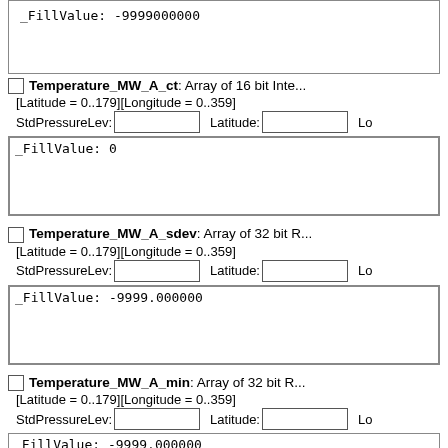_FillValue: -9999000000
Temperature_MW_A_ct: Array of 16 bit Integer [Latitude = 0..179][Longitude = 0..359]
StdPressureLev: [input] Latitude: [input] Lo...
_FillValue: 0
Temperature_MW_A_sdev: Array of 32 bit R... [Latitude = 0..179][Longitude = 0..359]
StdPressureLev: [input] Latitude: [input] Lo...
_FillValue: -9999.000000
Temperature_MW_A_min: Array of 32 bit R... [Latitude = 0..179][Longitude = 0..359]
StdPressureLev: [input] Latitude: [input] Lo...
_FillValue: -9999.000000